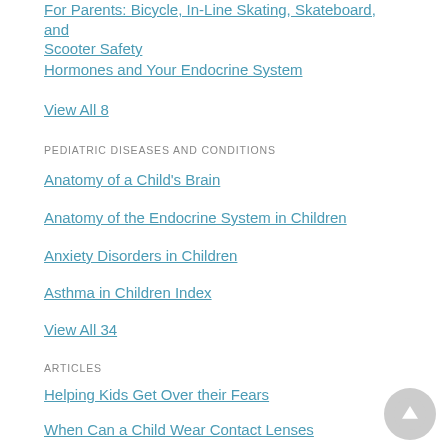For Parents: Bicycle, In-Line Skating, Skateboard, and Scooter Safety
Hormones and Your Endocrine System
View All 8
PEDIATRIC DISEASES AND CONDITIONS
Anatomy of a Child's Brain
Anatomy of the Endocrine System in Children
Anxiety Disorders in Children
Asthma in Children Index
View All 34
ARTICLES
Helping Kids Get Over their Fears
When Can a Child Wear Contact Lenses